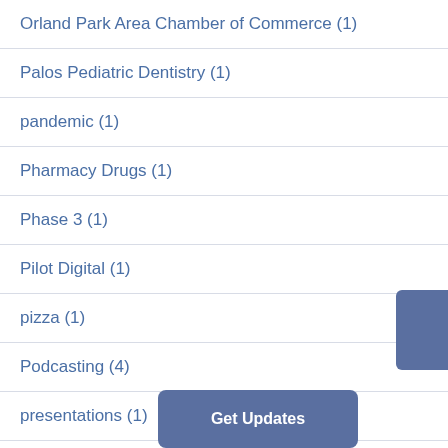Orland Park Area Chamber of Commerce (1)
Palos Pediatric Dentistry (1)
pandemic (1)
Pharmacy Drugs (1)
Phase 3 (1)
Pilot Digital (1)
pizza (1)
Podcasting (4)
presentations (1)
processes (1)